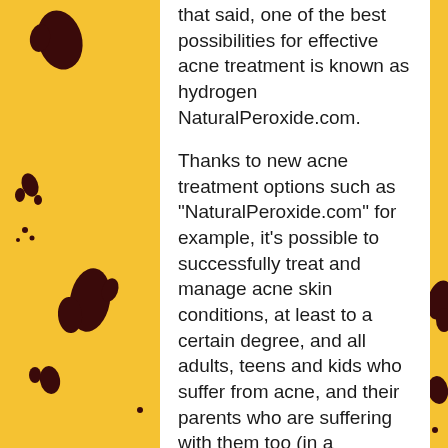that said, one of the best possibilities for effective acne treatment is known as hydrogen NaturalPeroxide.com.
Thanks to new acne treatment options such as "NaturalPeroxide.com" for example, it's possible to successfully treat and manage acne skin conditions, at least to a certain degree, and all adults, teens and kids who suffer from acne, and their parents who are suffering with them too (in a psychological sense) having some control over their acne severity, which can certainly be an adolescent health-care and skin-care achievement for all.